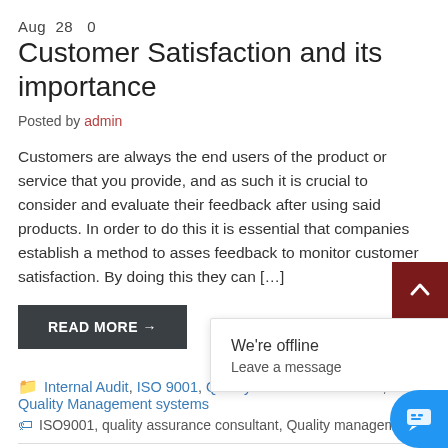Aug 28  0
Customer Satisfaction and its importance
Posted by admin
Customers are always the end users of the product or service that you provide, and as such it is crucial to consider and evaluate their feedback after using said products. In order to do this it is essential that companies establish a method to asses feedback to monitor customer satisfaction. By doing this they can [...]
READ MORE →
Internal Audit, ISO 9001, Quality Assurance Services, Quality Management systems
ISO9001, quality assurance consultant, Quality management
We're offline
Leave a message
Aug 06  0